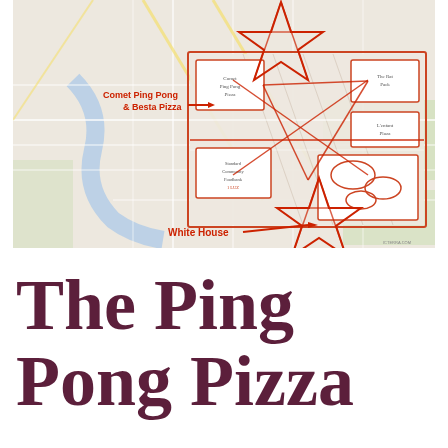[Figure (map): A street map of Washington DC with red pentagram symbols drawn over it, red lines connecting locations, an inset box showing zoomed view of an area with labeled rectangles, red text labels reading 'Comet Ping Pong & Besta Pizza' and 'White House' with arrows pointing to locations.]
The Ping Pong Pizza